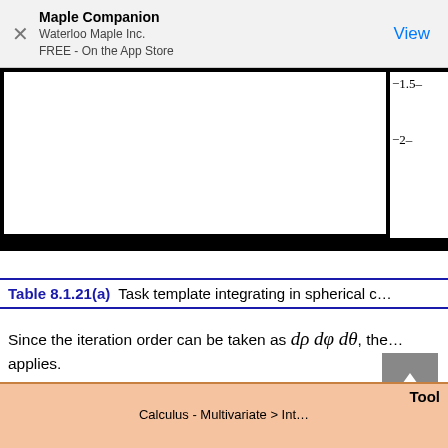Maple Companion
Waterloo Maple Inc.
FREE - On the App Store
View
[Figure (other): Partial view of a mathematical table/chart with y-axis labels -1.5 and -2 visible on the right side, with thick black borders forming a two-panel layout.]
Table 8.1.21(a)  Task template integrating in spherical c…
Since the iteration order can be taken as dρ dφ dθ, the… applies.
[Figure (other): Bottom orange-background tool panel showing 'Tool' heading and 'Calculus - Multivariate' subheading (partially visible).]